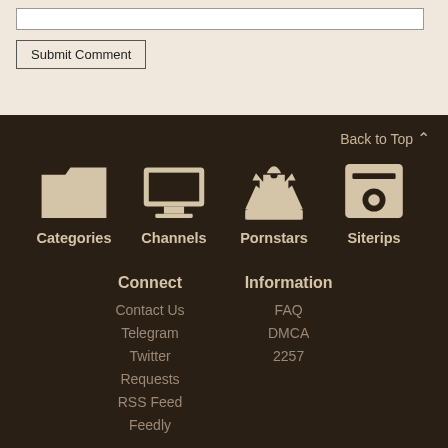Submit Comment
Back to Top
Categories
Channels
Pornstars
Siterips
Connect
Contact Us
Telegram
Twitter
Requests
RSS Feed
Feedly
Information
FAQ
DMCA
2257